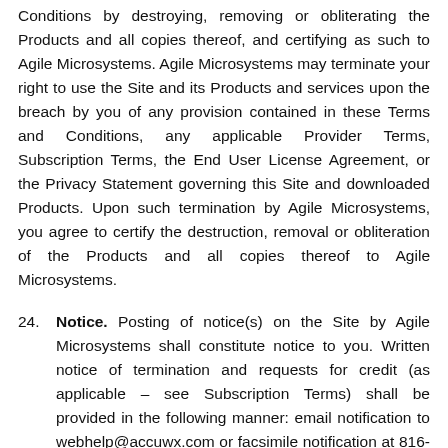Conditions by destroying, removing or obliterating the Products and all copies thereof, and certifying as such to Agile Microsystems. Agile Microsystems may terminate your right to use the Site and its Products and services upon the breach by you of any provision contained in these Terms and Conditions, any applicable Provider Terms, Subscription Terms, the End User License Agreement, or the Privacy Statement governing this Site and downloaded Products. Upon such termination by Agile Microsystems, you agree to certify the destruction, removal or obliteration of the Products and all copies thereof to Agile Microsystems.
24. Notice. Posting of notice(s) on the Site by Agile Microsystems shall constitute notice to you. Written notice of termination and requests for credit (as applicable – see Subscription Terms) shall be provided in the following manner: email notification to webhelp@accuwx.com or facsimile notification at 816-228-1339, attn: Webmaster. No credits or...